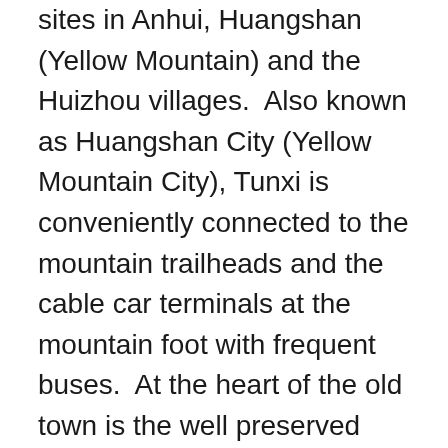sites in Anhui, Huangshan (Yellow Mountain) and the Huizhou villages.  Also known as Huangshan City (Yellow Mountain City), Tunxi is conveniently connected to the mountain trailheads and the cable car terminals at the mountain foot with frequent buses.  At the heart of the old town is the well preserved historical main street simply called Laojie or Old Street (老街) which is about 1.27km long running in the east-west direction. Laojie reached its heyday in the Qing dynasty when it served as a commercial hub for businesses, especially tea trading.  Today, Laojie has become a popular souvenir street, serving tourists heading to and from Huangshan.  Timber buildings and restored Huizhou buildings with white washed walls flanked both sides of the pedestrian street.  Vendors sell all kinds of souvenirs from the region, such as tea leaves, ink-stones, chili sauce, etc.  At night, vivid